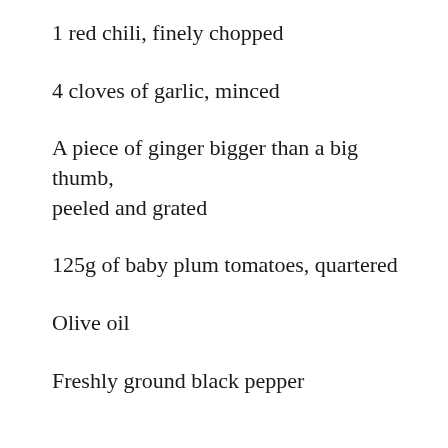1 red chili, finely chopped
4 cloves of garlic, minced
A piece of ginger bigger than a big thumb, peeled and grated
125g of baby plum tomatoes, quartered
Olive oil
Freshly ground black pepper